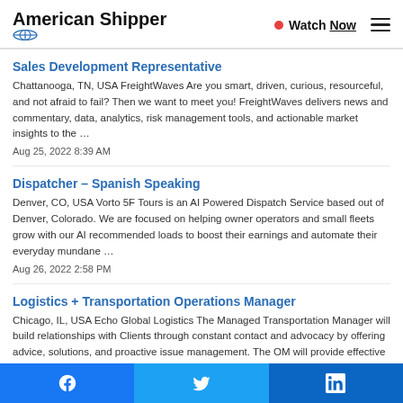American Shipper | Watch Now
Sales Development Representative
Chattanooga, TN, USA FreightWaves Are you smart, driven, curious, resourceful, and not afraid to fail? Then we want to meet you! FreightWaves delivers news and commentary, data, analytics, risk management tools, and actionable market insights to the …
Aug 25, 2022 8:39 AM
Dispatcher – Spanish Speaking
Denver, CO, USA Vorto 5F Tours is an AI Powered Dispatch Service based out of Denver, Colorado. We are focused on helping owner operators and small fleets grow with our AI recommended loads to boost their earnings and automate their everyday mundane …
Aug 26, 2022 2:58 PM
Logistics + Transportation Operations Manager
Chicago, IL, USA Echo Global Logistics The Managed Transportation Manager will build relationships with Clients through constant contact and advocacy by offering advice, solutions, and proactive issue management. The OM will provide effective solutio…
Facebook | Twitter | LinkedIn